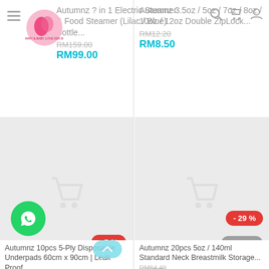Autumnz ? in 1 Electric Steamer & Food Steamer (Lilac / Blue) Bottle...
RM159.00
RM99.00
Autumnz 3.5oz / 5oz / 7oz / 8oz / 10oz / 12oz Double ZipLock...
RM12.20
RM8.50
[Figure (screenshot): Product image placeholder with shopping cart icon, -5% badge]
Autumnz 10pcs 5-Ply Disposable Underpads 60cm x 90cm | Leak Proof
RM12.00
[Figure (screenshot): Product image placeholder with shopping cart icon, -29% badge and 13 Sold badge]
Autumnz 20pcs 5oz / 140ml Standard Neck Breastmilk Storage...
RM84.40